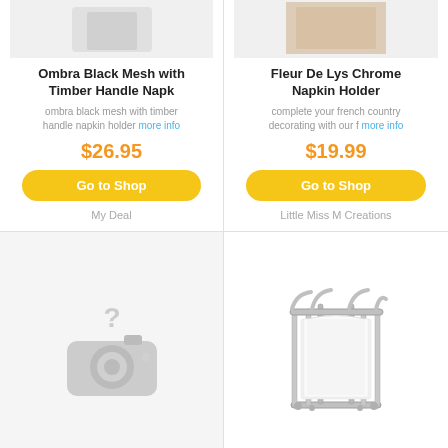[Figure (photo): Ombra Black Mesh napkin holder product image (partial view at top)]
Ombra Black Mesh with Timber Handle Napk
ombra black mesh with timber handle napkin holder more info
$26.95
Go to Shop
My Deal
[Figure (photo): Fleur De Lys Chrome Napkin Holder product image (partial view at top)]
Fleur De Lys Chrome Napkin Holder
complete your french country decorating with our f more info
$19.99
Go to Shop
Little Miss M Creations
[Figure (photo): No image placeholder with question mark and camera icon]
[Figure (photo): Chrome wire napkin holder with white napkins inside]